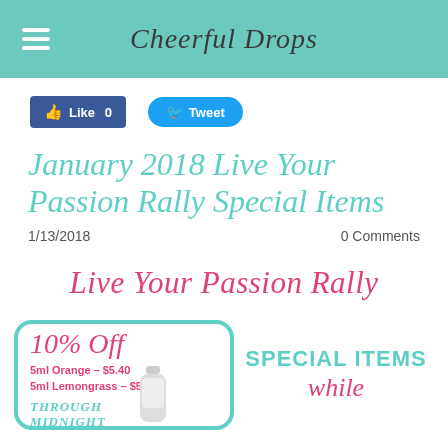Cheerful Drops
[Figure (screenshot): Facebook Like button (0 likes) and Twitter Tweet button social sharing buttons]
January 2018 Live Your Passion Rally Special Items
1/13/2018   0 Comments
[Figure (infographic): Live Your Passion Rally promotional graphic with pink script text, teal bordered box showing 10% Off, 5ml Orange - $5.40, 5ml Lemongrass - $5.63, THROUGH MIDNIGHT, and SPECIAL ITEMS text in teal, while text partially visible]